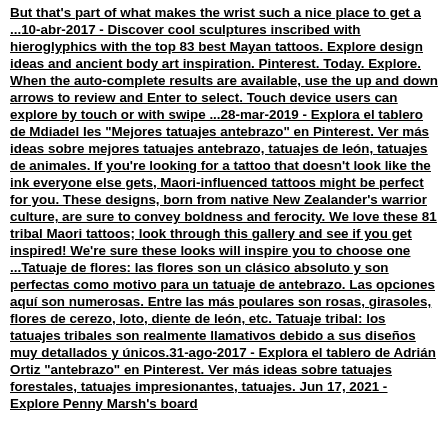But that's part of what makes the wrist such a nice place to get a ...10-abr-2017 - Discover cool sculptures inscribed with hieroglyphics with the top 83 best Mayan tattoos. Explore design ideas and ancient body art inspiration. Pinterest. Today. Explore. When the auto-complete results are available, use the up and down arrows to review and Enter to select. Touch device users can explore by touch or with swipe ...28-mar-2019 - Explora el tablero de Mdiadel Ies "Mejores tatuajes antebrazo" en Pinterest. Ver más ideas sobre mejores tatuajes antebrazo, tatuajes de león, tatuajes de animales. If you're looking for a tattoo that doesn't look like the ink everyone else gets, Maori-influenced tattoos might be perfect for you. These designs, born from native New Zealander's warrior culture, are sure to convey boldness and ferocity. We love these 81 tribal Maori tattoos; look through this gallery and see if you get inspired! We're sure these looks will inspire you to choose one ...Tatuaje de flores: las flores son un clásico absoluto y son perfectas como motivo para un tatuaje de antebrazo. Las opciones aquí son numerosas. Entre las más poulares son rosas, girasoles, flores de cerezo, loto, diente de león, etc. Tatuaje tribal: los tatuajes tribales son realmente llamativos debido a sus diseños muy detallados y únicos.31-ago-2017 - Explora el tablero de Adrián Ortiz "antebrazo" en Pinterest. Ver más ideas sobre tatuajes forestales, tatuajes impresionantes, tatuajes. Jun 17, 2021 - Explore Penny Marsh's board